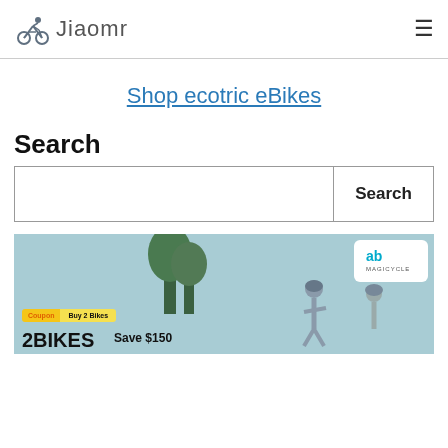Jiaomr
Shop ecotric eBikes
Search
[Figure (screenshot): Search input field and Search button]
[Figure (photo): Magicycle ad banner showing two cyclists with coupon: Buy 2 Bikes, 2BIKES, Save $150]